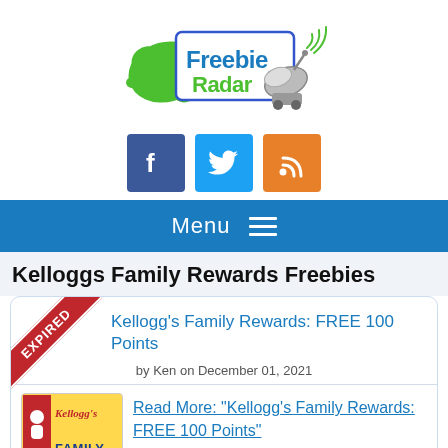[Figure (logo): Freebie Radar logo with green splat, satellite dish, and colorful text]
[Figure (infographic): Social media icons: Facebook (blue), Twitter (blue), RSS (orange)]
Menu ≡
Kelloggs Family Rewards Freebies
Kellogg's Family Rewards: FREE 100 Points
by Ken on December 01, 2021
[Figure (logo): Kellogg's Family Rewards logo thumbnail]
Read More: "Kellogg's Family Rewards: FREE 100 Points"